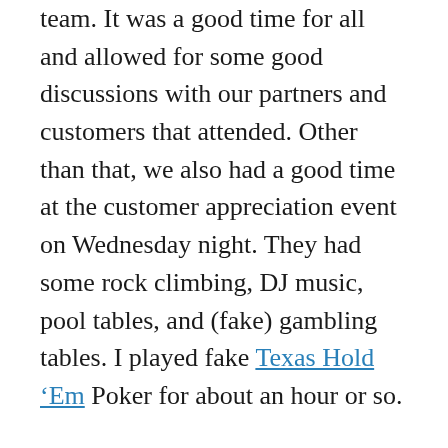team. It was a good time for all and allowed for some good discussions with our partners and customers that attended. Other than that, we also had a good time at the customer appreciation event on Wednesday night. They had some rock climbing, DJ music, pool tables, and (fake) gambling tables. I played fake Texas Hold 'Em Poker for about an hour or so.
Of course, probably the most important and rewarding part of the Collaborate conferences for me is the mini-reunion of all the individuals that I generally only see once a year at these events (aside from “seeing” them online). From what I remember, I saw and/or hung out with Jake K, Matt, Jeremy, Bex, Michelle, Vinod, Venkat, Jake V, Paul, Tony, Vikki